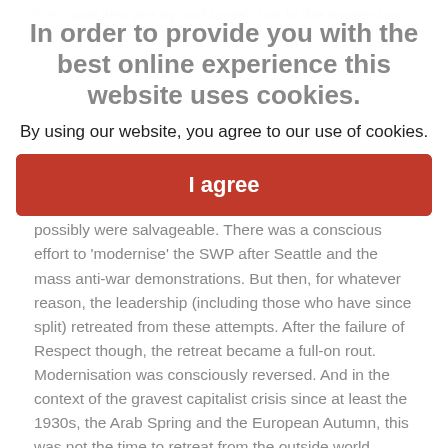the capacities are by and large), but to the leadership.
In order to provide you with the best online experience this website uses cookies.
By using our website, you agree to our use of cookies.
I agree
possibly were salvageable. There was a conscious effort to 'modernise' the SWP after Seattle and the mass anti-war demonstrations. But then, for whatever reason, the leadership (including those who have since split) retreated from these attempts. After the failure of Respect though, the retreat became a full-on rout. Modernisation was consciously reversed. And in the context of the gravest capitalist crisis since at least the 1930s, the Arab Spring and the European Autumn, this was not the time to retreat from the outside world.
And so it became the case that the SWP suffered the same problems that had haunted the rest of the Trotskyist-left. Splits along essentially generational lines, brittleness to the point of